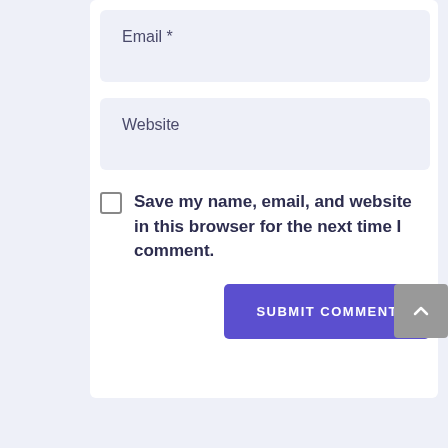Email *
Website
Save my name, email, and website in this browser for the next time I comment.
SUBMIT COMMENT